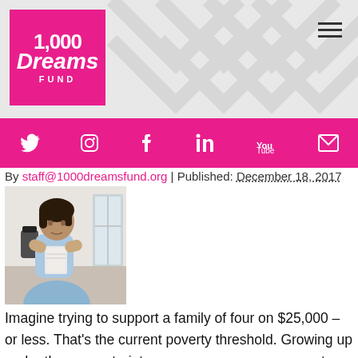[Figure (logo): 1,000 Dreams Fund logo — pink square with white text: '1,000 Dreams FUND']
[Figure (infographic): Pink navigation bar with social media icons: Twitter, Instagram, Facebook, LinkedIn, YouTube, Email]
By staff@1000dreamsfund.org | Published: December 18, 2017
[Figure (photo): Young woman with backpack holding books, standing by a window]
Imagine trying to support a family of four on $25,000 – or less. That's the current poverty threshold. Growing up under those constraints spurs many young women to vow that their future will be different. And they know